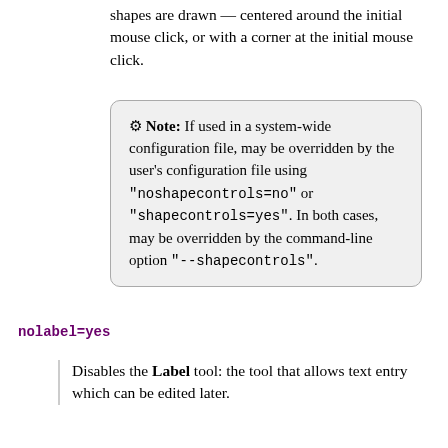shapes are drawn — centered around the initial mouse click, or with a corner at the initial mouse click.
⚙ Note: If used in a system-wide configuration file, may be overridden by the user's configuration file using "noshapecontrols=no" or "shapecontrols=yes". In both cases, may be overridden by the command-line option "--shapecontrols".
nolabel=yes
Disables the Label tool: the tool that allows text entry which can be edited later.